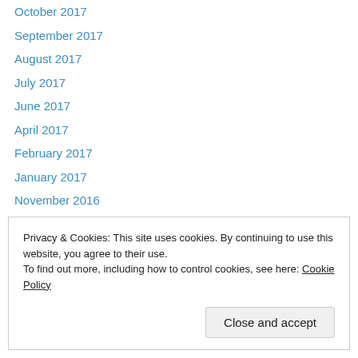October 2017
September 2017
August 2017
July 2017
June 2017
April 2017
February 2017
January 2017
November 2016
October 2016
September 2016
August 2016
May 2016
Privacy & Cookies: This site uses cookies. By continuing to use this website, you agree to their use.
To find out more, including how to control cookies, see here: Cookie Policy